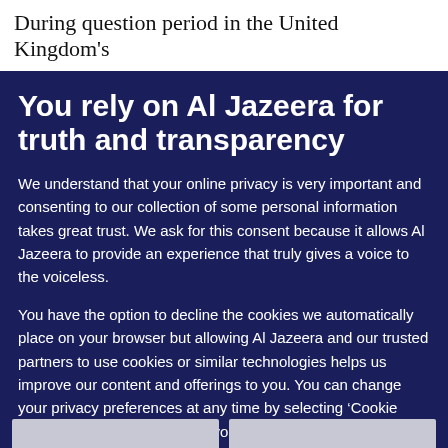During question period in the United Kingdom's
You rely on Al Jazeera for truth and transparency
We understand that your online privacy is very important and consenting to our collection of some personal information takes great trust. We ask for this consent because it allows Al Jazeera to provide an experience that truly gives a voice to the voiceless.
You have the option to decline the cookies we automatically place on your browser but allowing Al Jazeera and our trusted partners to use cookies or similar technologies helps us improve our content and offerings to you. You can change your privacy preferences at any time by selecting ‘Cookie preferences’ at the bottom of your screen. To learn more, please view our Cookie Policy.